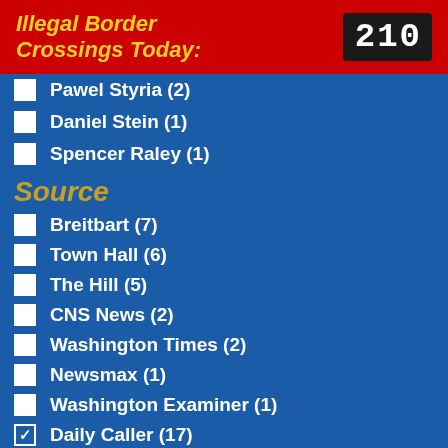Illegal Border Crossings Today: 210
Pawel Styria (2)
Daniel Stein (1)
Spencer Raley (1)
Source
Breitbart (7)
Town Hall (6)
The Hill (5)
CNS News (2)
Washington Times (2)
Newsmax (1)
Washington Examiner (1)
Daily Caller (17)
Fox News (1)
Newsweek (1)